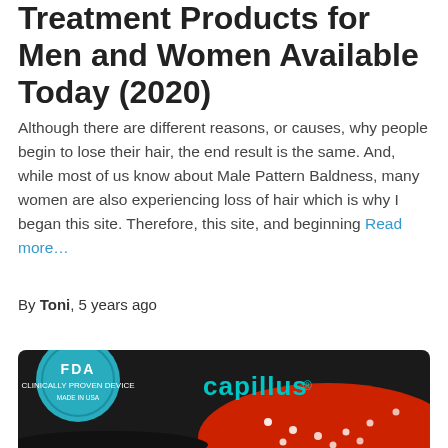Treatment Products for Men and Women Available Today (2020)
Although there are different reasons, or causes, why people begin to lose their hair, the end result is the same. And, while most of us know about Male Pattern Baldness, many women are also experiencing loss of hair which is why I began this site. Therefore, this site, and beginning Read more…
By Toni, 5 years ago
[Figure (photo): A black Capillus laser therapy cap with an FDA badge on the left side, teal 'capillus' branding, and a red interior with white LED light dots visible]